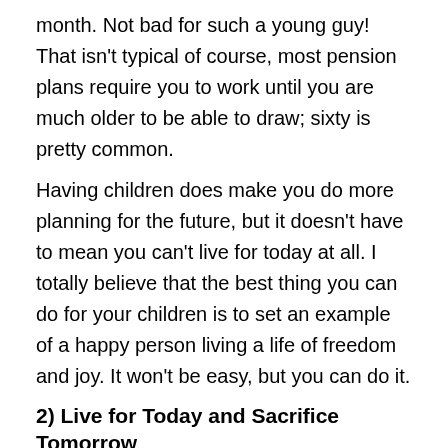month. Not bad for such a young guy! That isn't typical of course, most pension plans require you to work until you are much older to be able to draw; sixty is pretty common.
Having children does make you do more planning for the future, but it doesn't have to mean you can't live for today at all. I totally believe that the best thing you can do for your children is to set an example of a happy person living a life of freedom and joy. It won't be easy, but you can do it.
2) Live for Today and Sacrifice Tomorrow
Now compare that to my friend Venture, who just gave us the reports on thru-hiking the Colorado Trail http://cheaprvliving.com/blog/have-adventures-when-